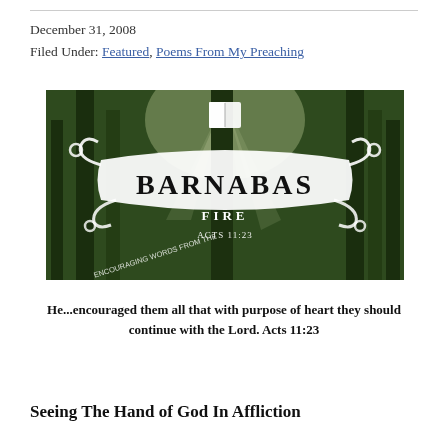December 31, 2008
Filed Under: Featured, Poems From My Preaching
[Figure (photo): Barnabas Fire logo — white decorative banner with the word BARNABAS in large letters, a Bible icon above, and the text ACTS 11:23 and ENCOURAGING WORDS FROM THE WORD below, set against a forest background with rays of sunlight through trees.]
He...encouraged them all that with purpose of heart they should continue with the Lord. Acts 11:23
Seeing The Hand of God In Affliction